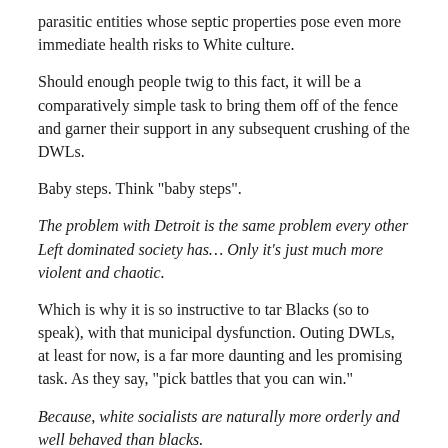parasitic entities whose septic properties pose even more immediate health risks to White culture.
Should enough people twig to this fact, it will be a comparatively simple task to bring them off of the fence and garner their support in any subsequent crushing of the DWLs.
Baby steps. Think "baby steps".
The problem with Detroit is the same problem every other Left dominated society has… Only it's just much more violent and chaotic.
Which is why it is so instructive to tar Blacks (so to speak), with that municipal dysfunction. Outing DWLs, at least for now, is a far more daunting and les promising task. As they say, "pick battles that you can win."
Because, white socialists are naturally more orderly and well behaved than blacks.